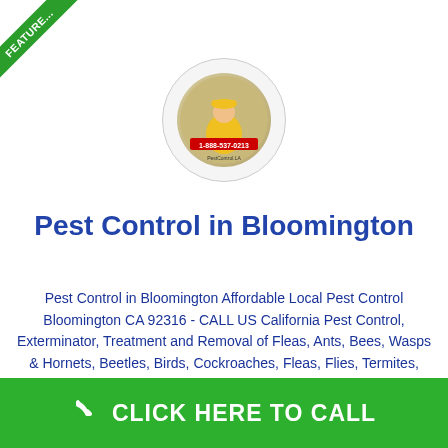[Figure (logo): Featured ribbon in top-left corner, green diagonal banner with 'FEATURED' text]
[Figure (photo): Circular logo image showing a pest control worker in yellow gear with phone number 1-888-537-0213]
Pest Control in Bloomington
Pest Control in Bloomington Affordable Local Pest Control Bloomington CA 92316 - CALL US California Pest Control, Exterminator, Treatment and Removal of Fleas, Ants, Bees, Wasps & Hornets, Beetles, Birds, Cockroaches, Fleas, Flies, Termites, Termite inspection, Mosquitoes, Pantry Pests, Rodents, Spiders, Termites, Ticks, Scorpions, Bees, Weevils, Rats, Stinging Pests, Slugs and Snails, Horntails, Mice, Silverfish, Millipedes, Wasps, Hornets, Springtails,
CLICK HERE TO CALL